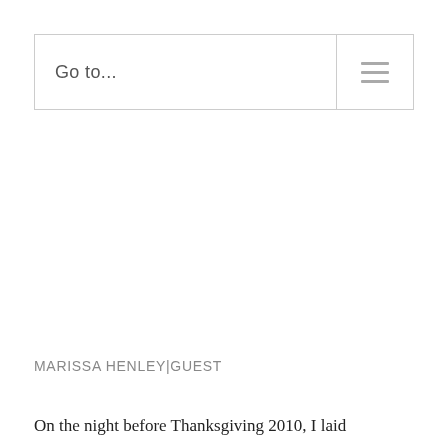Go to...
MARISSA HENLEY|GUEST
On the night before Thanksgiving 2010, I laid